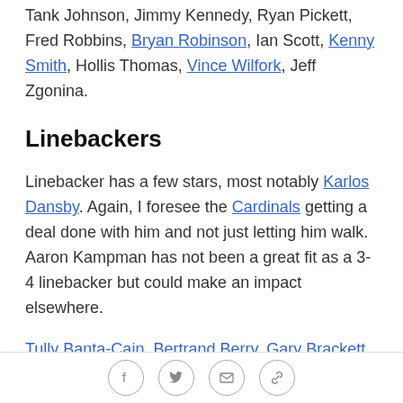Tank Johnson, Jimmy Kennedy, Ryan Pickett, Fred Robbins, Bryan Robinson, Ian Scott, Kenny Smith, Hollis Thomas, Vince Wilfork, Jeff Zgonina.
Linebackers
Linebacker has a few stars, most notably Karlos Dansby. Again, I foresee the Cardinals getting a deal done with him and not just letting him walk. Aaron Kampman has not been a great fit as a 3-4 linebacker but could make an impact elsewhere.
Tully Banta-Cain, Bertrand Berry, Gary Brackett, Keith Bulluck, Derrick Burgess, Khary Campbell, Brandon Chillar, Vinny Ciurciu, Danny Clark, Angelo Crowell, Karlos Dansby, Chris Draft, Larry Foote, Ryan Fowler,
Social share icons: Facebook, Twitter, Email, Link